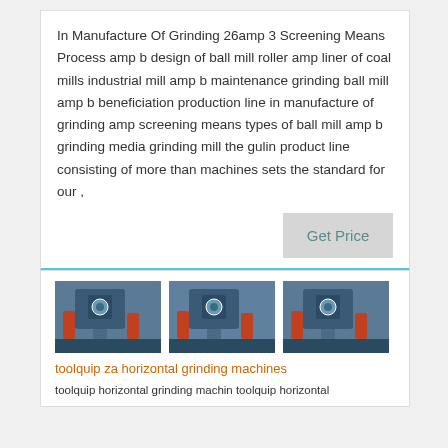In Manufacture Of Grinding 26amp 3 Screening Means Process amp b design of ball mill roller amp liner of coal mills industrial mill amp b maintenance grinding ball mill amp b beneficiation production line in manufacture of grinding amp screening means types of ball mill amp b grinding media grinding mill the gulin product line consisting of more than machines sets the standard for our ,
Get Price
[Figure (photo): Three industrial grinding machine photos shown side by side]
toolquip za horizontal grinding machines
toolquip horizontal grinding machin toolquip horizontal